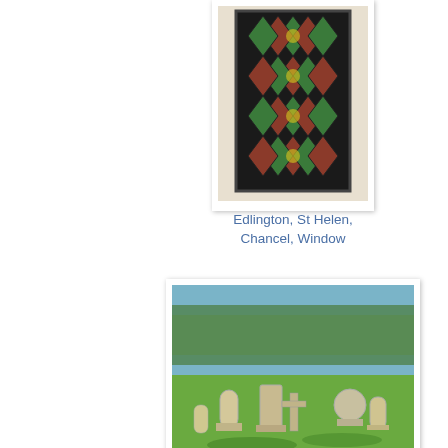[Figure (photo): Stained glass window with geometric diamond/floral pattern in greens, reds and blues — Edlington, St Helen, Chancel, Window]
Edlington, St Helen, Chancel, Window
[Figure (photo): Churchyard with gravestones on green grass under blue sky — Edlington, St Helen, Churchyard]
Edlington, St Helen, Churchyard
[Figure (photo): Stone baptismal font with arched panel decoration and dark lid — partial view]